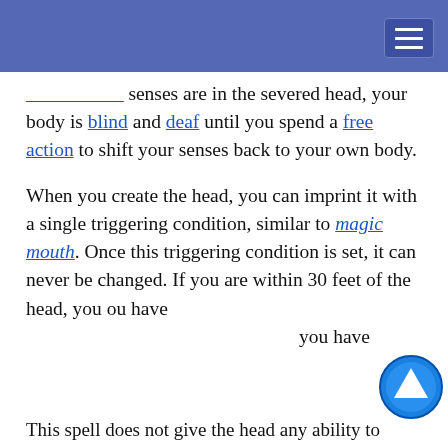senses are in the severed head, your body is blind and deaf until you spend a free action to shift your senses back to your own body.
When you create the head, you can imprint it with a single triggering condition, similar to magic mouth. Once this triggering condition is set, it can never be changed. If you are within 30 feet of the head, you [...]
This website uses cookies to provide functionality, but which are not used to track your activity. By continuing to use this site, you agree to the use of these cookies.

However, in addition to this, you may opt into your activity being tracked in order to help us improve our service.

For more information, please click here
This spell does not give the head any ability to